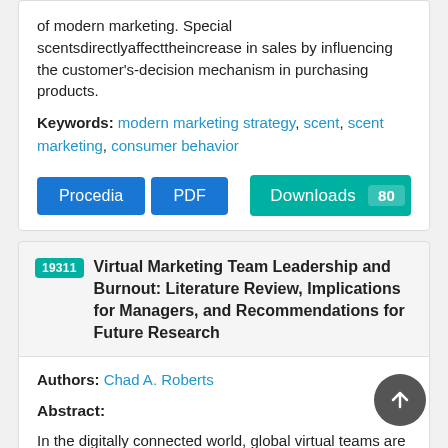of modern marketing. Special scentsdirectlyaffecttheincrease in sales by influencing the customer's-decision mechanism in purchasing products.
Keywords: modern marketing strategy, scent, scent marketing, consumer behavior
Procedia | PDF | Downloads 80
19311 Virtual Marketing Team Leadership and Burnout: Literature Review, Implications for Managers, and Recommendations for Future Research
Authors: Chad A. Roberts
Abstract:
In the digitally connected world, global virtual teams are increasingly becoming the norm at large